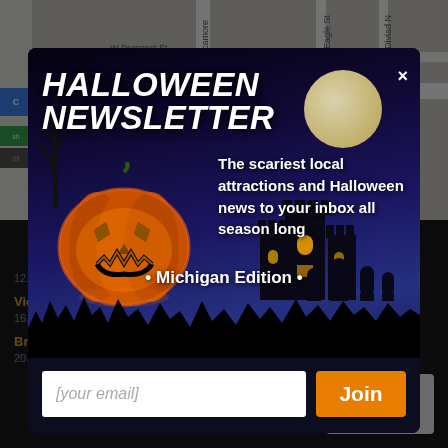[Figure (map): Google Maps screenshot showing local area with streets (W Prospect St, N Sycamore, N Eagle St, N Diviad N, Verona Rd) and Oaklawn Hospital marker]
HALLOWEEN NEWSLETTER
The scariest local attractions and Halloween news to your inbox all season long
• Michigan Edition •
[your email]
Join
12.0 miles away
Victorian Villa Inn
16.4 miles away
Brook Lodge - Brook Lodge Hotel & Conference Resort
20.8 miles away